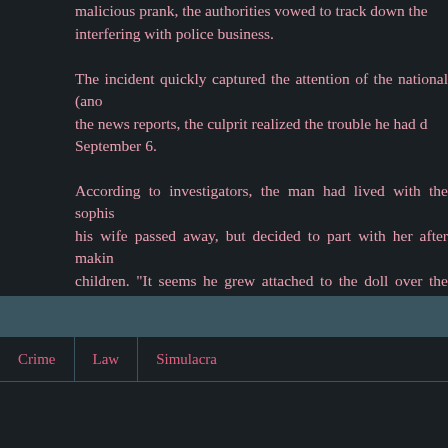malicious prank, the authorities vowed to track down the interfering with police business.
The incident quickly captured the attention of the national (and the news reports, the culprit realized the trouble he had done September 6.
According to investigators, the man had lived with the sophisticate his wife passed away, but decided to part with her after making children. "It seems he grew attached to the doll over the years was confused about how to get rid of her. He thought it would and throw her out with the trash, so he proceeded to dump her.
The man, who regrets his lifelike doll was mistaken for a corpse Japan's Waste Management Law.
[Source: ZAKZAK, Yomiuri]
Crime
Law
Simulacra